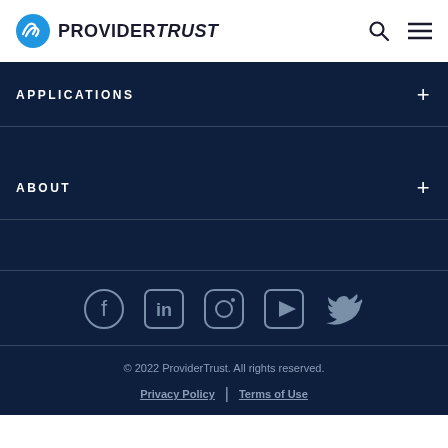PROVIDERTRUST
APPLICATIONS
ABOUT
[Figure (illustration): Social media icons row: Facebook, LinkedIn, Instagram, YouTube, Twitter]
© 2022 ProviderTrust. All rights reserved. | Privacy Policy | Terms of Use